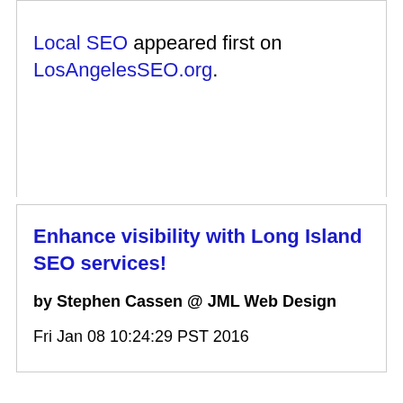Local SEO appeared first on LosAngelesSEO.org.
Enhance visibility with Long Island SEO services!
by Stephen Cassen @ JML Web Design
Fri Jan 08 10:24:29 PST 2016